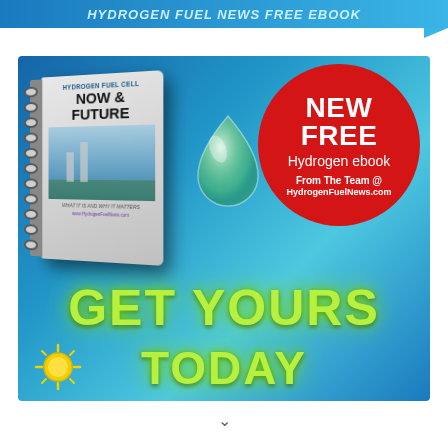HYDROGEN FUEL NEWS FREE EBOOK
[Figure (illustration): Advertisement for a free hydrogen fuel cell ebook. Shows a spiral-bound book titled 'HYDROGEN FUEL CELL NOW & FUTURE – WHAT IT IS AND WHY IT MATTERS', a water droplet, a red circle badge saying 'NEW FREE Hydrogen ebook From The Team @ HydrogenFuelNews.com', and large glowing green text reading 'GET YOURS TODAY' on a blue water background.]
∨